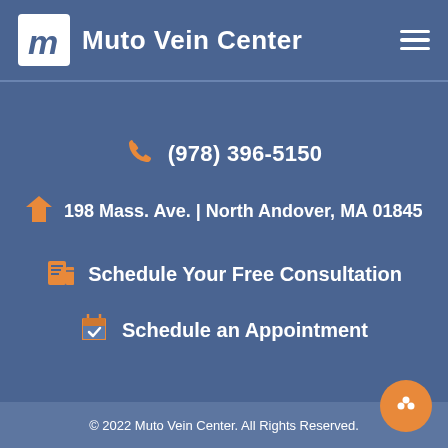Muto Vein Center
(978) 396-5150
198 Mass. Ave. | North Andover, MA 01845
Schedule Your Free Consultation
Schedule an Appointment
© 2022 Muto Vein Center. All Rights Reserved.